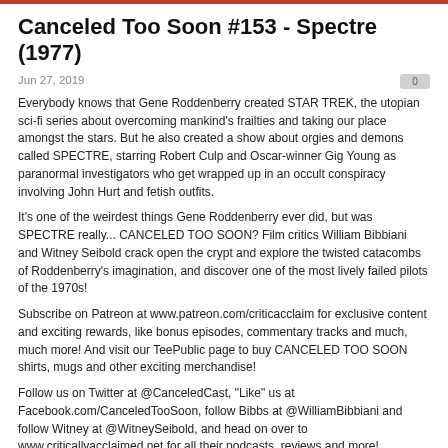Canceled Too Soon #153 - Spectre (1977)
Jun 27, 2019
Everybody knows that Gene Roddenberry created STAR TREK, the utopian sci-fi series about overcoming mankind's frailties and taking our place amongst the stars. But he also created a show about orgies and demons called SPECTRE, starring Robert Culp and Oscar-winner Gig Young as paranormal investigators who get wrapped up in an occult conspiracy involving John Hurt and fetish outfits.
It's one of the weirdest things Gene Roddenberry ever did, but was SPECTRE really... CANCELED TOO SOON? Film critics William Bibbiani and Witney Seibold crack open the crypt and explore the twisted catacombs of Roddenberry's imagination, and discover one of the most lively failed pilots of the 1970s!
Subscribe on Patreon at www.patreon.com/criticacclaim for exclusive content and exciting rewards, like bonus episodes, commentary tracks and much, much more! And visit our TeePublic page to buy CANCELED TOO SOON shirts, mugs and other exciting merchandise!
Follow us on Twitter at @CanceledCast, "Like" us at Facebook.com/CanceledTooSoon, follow Bibbs at @WilliamBibbiani and follow Witney at @WitneySeibold, and head on over to www.criticallyacclaimed.net for all their podcasts, reviews and more!